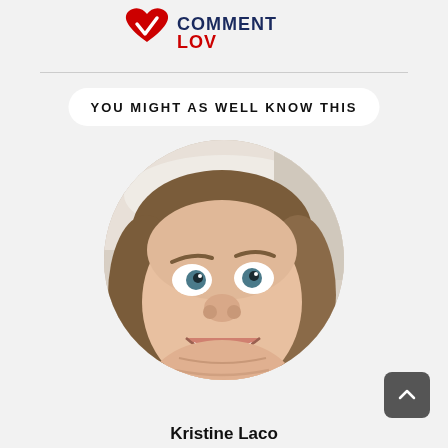[Figure (logo): CommentLuv logo with heart icon and text]
YOU MIGHT AS WELL KNOW THIS
[Figure (photo): Circular portrait photo of a woman with wide eyes and a big smile, looking upward into the camera]
Kristine Laco